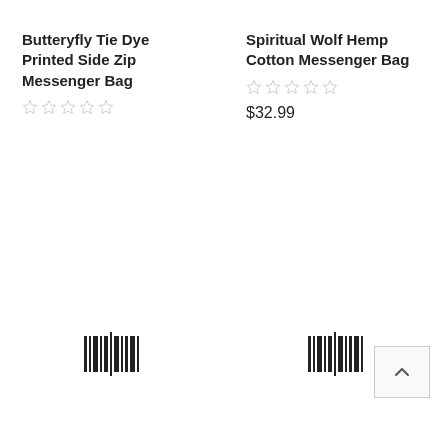Butteryfly Tie Dye Printed Side Zip Messenger Bag
★★★★★ (empty stars)
Spiritual Wolf Hemp Cotton Messenger Bag
★★★★★ (empty stars)
$32.99
[Figure (other): Barcode/scan icon left product]
[Figure (other): Barcode/scan icon right product]
[Figure (other): Back to top button with upward chevron]